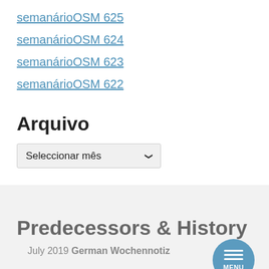semanárioOSM 625
semanárioOSM 624
semanárioOSM 623
semanárioOSM 622
Arquivo
Seleccionar mês
Predecessors & History
July 2019 German Wochennotiz